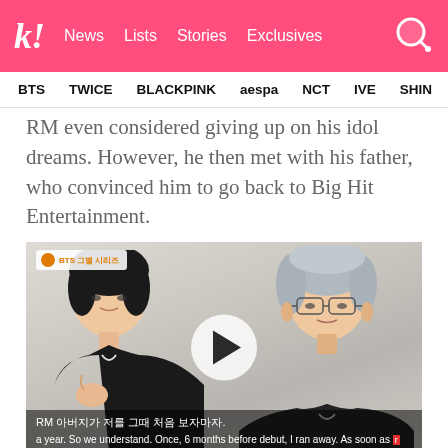k! News Lists Stories Exclusives
BTS TWICE BLACKPINK aespa NCT IVE SHIN
RM even considered giving up on his idol dreams. However, he then met with his father, who convinced him to go back to Big Hit Entertainment.
[Figure (screenshot): Video thumbnail showing two BTS members, one with dark hair on the left and one with silver/gray hair wearing glasses on the right. A play button is overlaid in the center. Korean subtitles at bottom read 'RM 아버지가 저를 그때 처음 보자마자.' English subtitles read: 'a year. So we understand. Once, 6 months before debut, I ran away. As soon as my dad saw m']